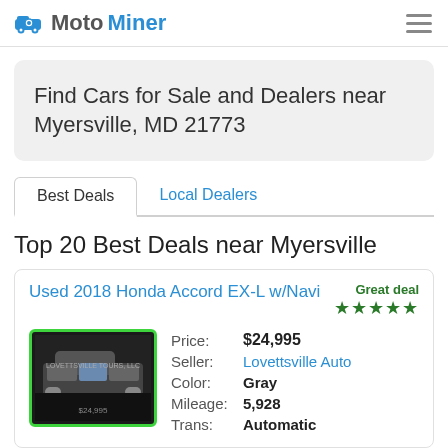MotoMiner
Find Cars for Sale and Dealers near Myersville, MD 21773
Best Deals | Local Dealers
Top 20 Best Deals near Myersville
Used 2018 Honda Accord EX-L w/Navi
[Figure (photo): Photo of a dark colored Honda Accord with green circular border frame]
| Field | Value |
| --- | --- |
| Price: | $24,995 |
| Seller: | Lovettsville Auto |
| Color: | Gray |
| Mileage: | 5,928 |
| Trans: | Automatic |